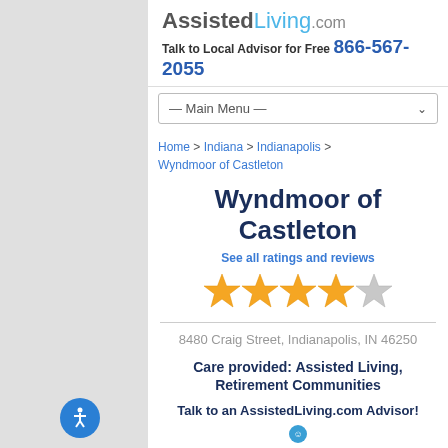AssistedLiving.com — Talk to Local Advisor for Free 866-567-2055
— Main Menu —
Home > Indiana > Indianapolis > Wyndmoor of Castleton
Wyndmoor of Castleton
See all ratings and reviews
[Figure (other): 4 out of 5 stars rating — four filled gold stars and one empty gray star]
8480 Craig Street, Indianapolis, IN 46250
Care provided: Assisted Living, Retirement Communities
Talk to an AssistedLiving.com Advisor!